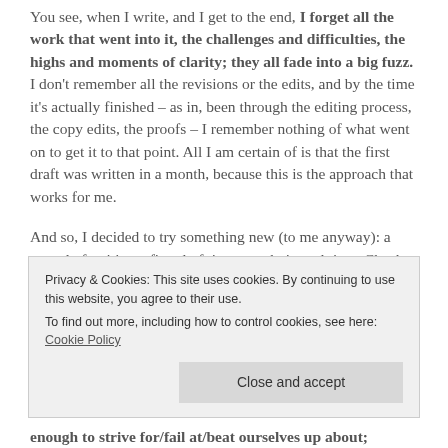You see, when I write, and I get to the end, I forget all the work that went into it, the challenges and difficulties, the highs and moments of clarity; they all fade into a big fuzz. I don't remember all the revisions or the edits, and by the time it's actually finished – as in, been through the editing process, the copy edits, the proofs – I remember nothing of what went on to get it to that point. All I am certain of is that the first draft was written in a month, because this is the approach that works for me.
And so, I decided to try something new (to me anyway): a record of writing a first draft in a month, in real time. Check out the hashtag #1stdraftdiary on twitter to see what I mean (you don't have to have a twitter account to follow
Privacy & Cookies: This site uses cookies. By continuing to use this website, you agree to their use. To find out more, including how to control cookies, see here: Cookie Policy
Close and accept
enough to strive for/fail at/beat ourselves up about;